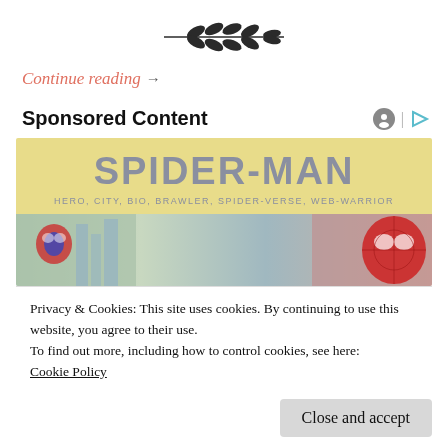[Figure (illustration): Decorative leaf/branch divider icon centered at top of page]
Continue reading →
Sponsored Content
[Figure (photo): Spider-Man advertisement banner with yellow header showing 'SPIDER-MAN' in large bold grey text, subtitle 'HERO, CITY, BIO, BRAWLER, SPIDER-VERSE, WEB-WARRIOR', and a comic-style image strip below showing Spider-Man characters]
Privacy & Cookies: This site uses cookies. By continuing to use this website, you agree to their use.
To find out more, including how to control cookies, see here: Cookie Policy
Close and accept